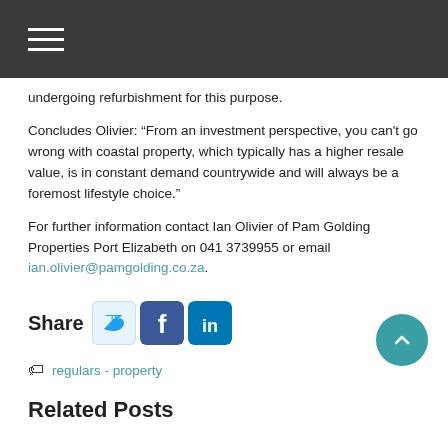undergoing refurbishment for this purpose.
Concludes Olivier: “From an investment perspective, you can't go wrong with coastal property, which typically has a higher resale value, is in constant demand countrywide and will always be a foremost lifestyle choice.”
For further information contact Ian Olivier of Pam Golding Properties Port Elizabeth on 041 3739955 or email ian.olivier@pamgolding.co.za.
[Figure (infographic): Share buttons: Twitter, Facebook, LinkedIn icons with Share label]
regulars - property
Related Posts